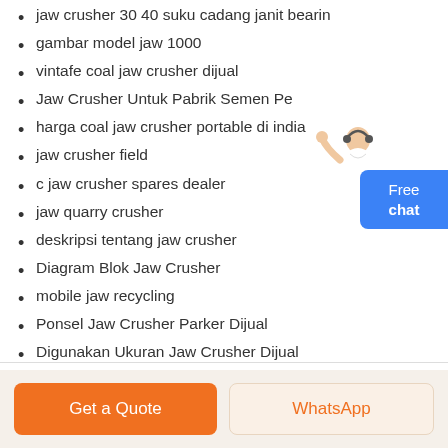jaw crusher 30 40 suku cadang janit bearin
gambar model jaw 1000
vintafe coal jaw crusher dijual
Jaw Crusher Untuk Pabrik Semen Pe
harga coal jaw crusher portable di india
jaw crusher field
c jaw crusher spares dealer
jaw quarry crusher
deskripsi tentang jaw crusher
Diagram Blok Jaw Crusher
mobile jaw recycling
Ponsel Jaw Crusher Parker Dijual
Digunakan Ukuran Jaw Crusher Dijual
harga jaw crusher eropa
penyedia gold ore jaw crusher nigeria
[Figure (illustration): Customer service person with headset raising hand, next to a blue Free chat button widget]
Get a Quote
WhatsApp